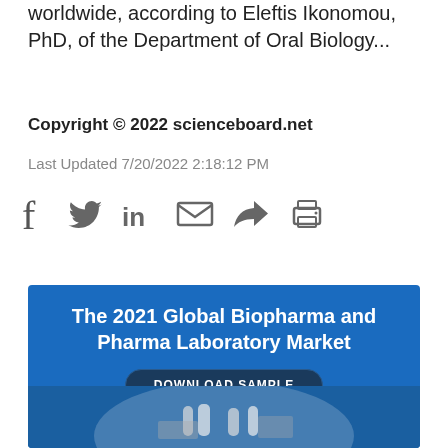worldwide, according to Eleftis Ikonomou, PhD, of the Department of Oral Biology...
Copyright © 2022 scienceboard.net
Last Updated 7/20/2022 2:18:12 PM
[Figure (infographic): Social sharing icons: Facebook, Twitter, LinkedIn, Email, Share/Forward, Print]
[Figure (infographic): Advertisement banner for 'The 2021 Global Biopharma and Pharma Laboratory Market' with a 'DOWNLOAD SAMPLE' button and a lab photo at the bottom]